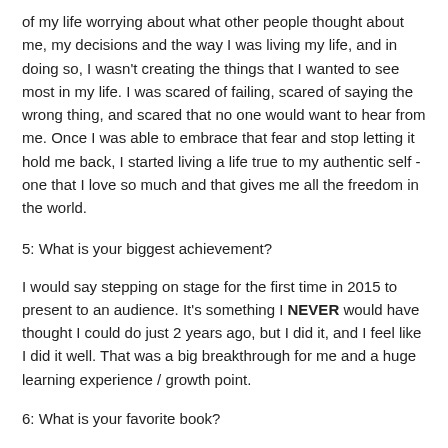of my life worrying about what other people thought about me, my decisions and the way I was living my life, and in doing so, I wasn't creating the things that I wanted to see most in my life. I was scared of failing, scared of saying the wrong thing, and scared that no one would want to hear from me. Once I was able to embrace that fear and stop letting it hold me back, I started living a life true to my authentic self - one that I love so much and that gives me all the freedom in the world.
5: What is your biggest achievement?
I would say stepping on stage for the first time in 2015 to present to an audience. It's something I NEVER would have thought I could do just 2 years ago, but I did it, and I feel like I did it well. That was a big breakthrough for me and a huge learning experience / growth point.
6: What is your favorite book?
Essentialism by Greg McKeown - amazing read about how to be most productive so that we begin to spend our time on the things that matter most to us.